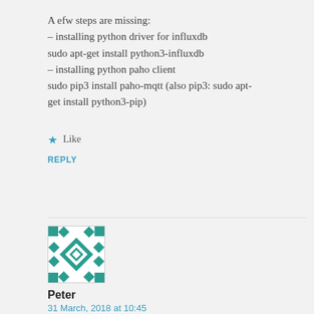A efw steps are missing:
– installing python driver for influxdb
sudo apt-get install python3-influxdb
– installing python paho client
sudo pip3 install paho-mqtt (also pip3: sudo apt-get install python3-pip)
Like
REPLY
[Figure (illustration): Geometric teal and white avatar/identicon pattern with diamond and square shapes]
Peter
31 March, 2018 at 10:45